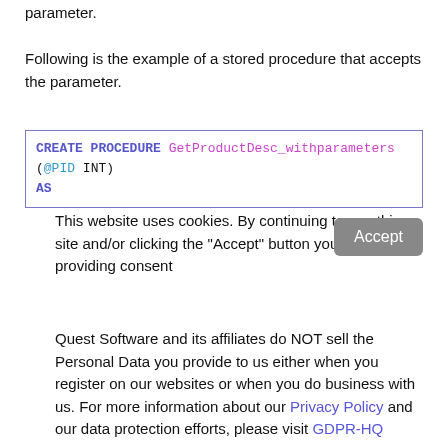parameter.
Following is the example of a stored procedure that accepts the parameter.
CREATE PROCEDURE GetProductDesc_withparameters
(@PID INT)
AS
This website uses cookies. By continuing to use this site and/or clicking the "Accept" button you are providing consent
Quest Software and its affiliates do NOT sell the Personal Data you provide to us either when you register on our websites or when you do business with us. For more information about our Privacy Policy and our data protection efforts, please visit GDPR-HQ